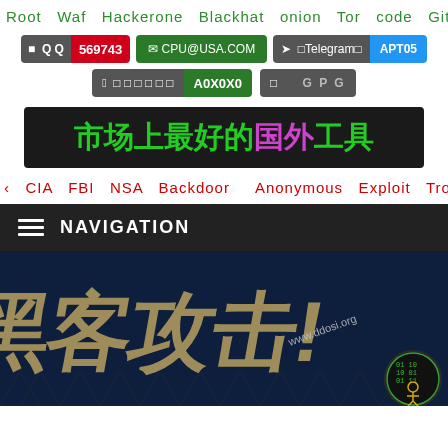Root  Waf  Hackerone  Blackhat  onion  Tor  code  Githu
QQ 569743  |  CPU@USA.COM  |  Telegram APT05
A0X0X0  |  GPG
市场上最好的国外工具
‹  CIA  FBI  NSA  Backdoor     Anonymous  Exploit  Trojan
NAVIGATION
[Figure (logo): Dark blue hero banner with diagonal gold/tan stylized text logo resembling Chinese characters or stylized lettering, website URL www.ddosi.org, hexagon pattern at bottom, and circular green binary/hacker icon in bottom right corner]